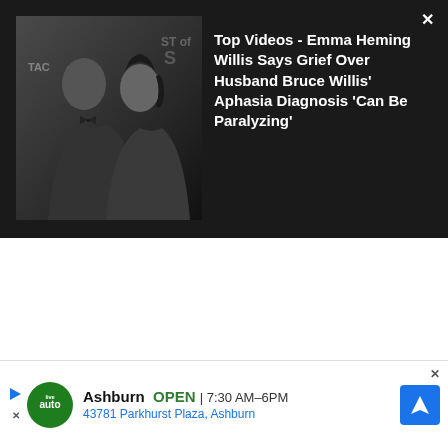[Figure (photo): Photo of a man in a tuxedo and a woman at what appears to be a formal event, with Taco Bell branding visible in background]
Top Videos - Emma Heming Willis Says Grief Over Husband Bruce Willis' Aphasia Diagnosis 'Can Be Paralyzing'
[Figure (screenshot): Advertisement for live auto shop in Ashburn showing business name, hours (OPEN 7:30AM-6PM), and address (43781 Parkhurst Plaza, Ashburn)]